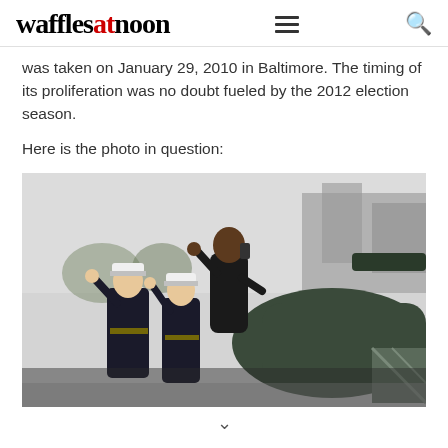wafflesatnoon
was taken on January 29, 2010 in Baltimore. The timing of its proliferation was no doubt fueled by the 2012 election season.

Here is the photo in question:
[Figure (photo): A person in dark clothing talking on a phone while two Marines in uniform salute, near a helicopter.]